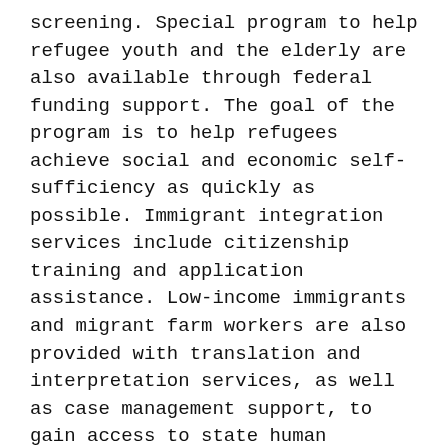screening. Special program to help refugee youth and the elderly are also available through federal funding support. The goal of the program is to help refugees achieve social and economic self-sufficiency as quickly as possible. Immigrant integration services include citizenship training and application assistance. Low-income immigrants and migrant farm workers are also provided with translation and interpretation services, as well as case management support, to gain access to state human services.
In addition to temporary assistance the division also improves the health and well-being of families and individuals through partnerships and services that build strong communities. We offer a wide array of programs and services, including:
Healthy Mothers and Babies - Case management (additional text cut off)